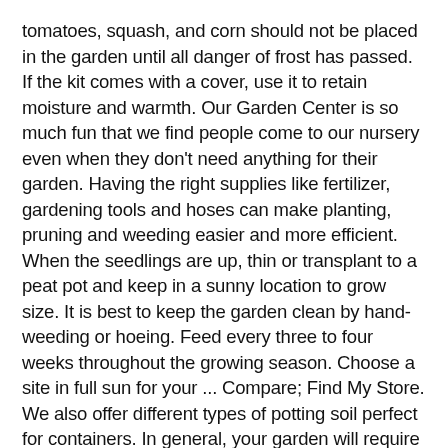tomatoes, squash, and corn should not be placed in the garden until all danger of frost has passed. If the kit comes with a cover, use it to retain moisture and warmth. Our Garden Center is so much fun that we find people come to our nursery even when they don't need anything for their garden. Having the right supplies like fertilizer, gardening tools and hoses can make planting, pruning and weeding easier and more efficient. When the seedlings are up, thin or transplant to a peat pot and keep in a sunny location to grow size. It is best to keep the garden clean by hand-weeding or hoeing. Feed every three to four weeks throughout the growing season. Choose a site in full sun for your ... Compare; Find My Store. We also offer different types of potting soil perfect for containers. In general, your garden will require at least one inch of rain each week. Vegetable Planting Tips Preparation. Bonnie 25-oz-Pack in Pot Butter Baby Butternut Squash Plant (Vegetable Plant) Prior to planting, apply 5 lbs. 1221 Grand Avenue, Piedmont CA 94610. Model #72-322029. Transplant to the garden when best for that crop. Just so you don't forget something special, we also carry the following items: Copyright 2020 Grand Lake Ace Hardware | All Rights Reserved | Site designed by: Outdoor power equipment